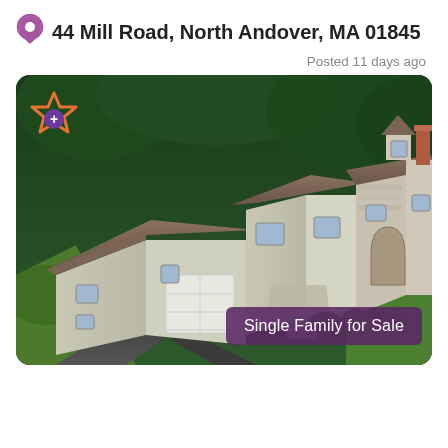44 Mill Road, North Andover, MA 01845
Posted 11 days ago
[Figure (photo): Aerial drone photo of a large two-story single family home with gray/beige siding, brown shingle roof, two-car garage, stone accent entryway, front steps/deck, landscaped yard with dark green trees in background. Asphalt driveway visible. Badge overlay reads 'Single Family for Sale'.]